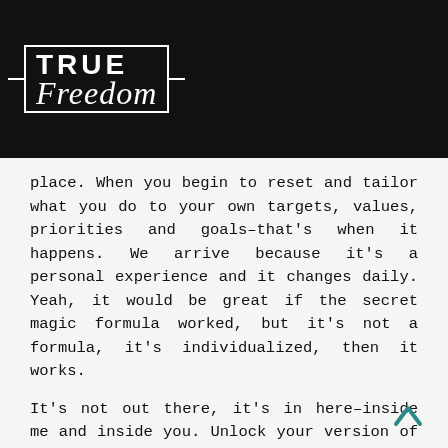[Figure (logo): True Freedom logo in white on black background with bracket/box design]
place. When you begin to reset and tailor what you do to your own targets, values, priorities and goals–that's when it happens. We arrive because it's a personal experience and it changes daily. Yeah, it would be great if the secret magic formula worked, but it's not a formula, it's individualized, then it works.
It's not out there, it's in here–inside me and inside you. Unlock your version of true freedom.